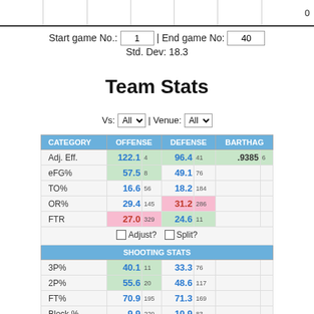0
Start game No.: 1 | End game No: 40
Std. Dev: 18.3
Team Stats
Vs: All | Venue: All
| CATEGORY | OFFENSE |  | DEFENSE |  | BARTHAG |  |
| --- | --- | --- | --- | --- | --- | --- |
| Adj. Eff. | 122.1 | 4 | 96.4 | 41 | .9385 | 6 |
| eFG% | 57.5 | 8 | 49.1 | 76 |  |  |
| TO% | 16.6 | 56 | 18.2 | 184 |  |  |
| OR% | 29.4 | 145 | 31.2 | 286 |  |  |
| FTR | 27.0 | 329 | 24.6 | 11 |  |  |
| SHOOTING STATS |  |  |  |  |  |  |
| 3P% | 40.1 | 11 | 33.3 | 76 |  |  |
| 2P% | 55.6 | 20 | 48.6 | 117 |  |  |
| FT% | 70.9 | 195 | 71.3 | 169 |  |  |
| Block % | 9.9 | 229 | 10.9 | 83 |  |  |